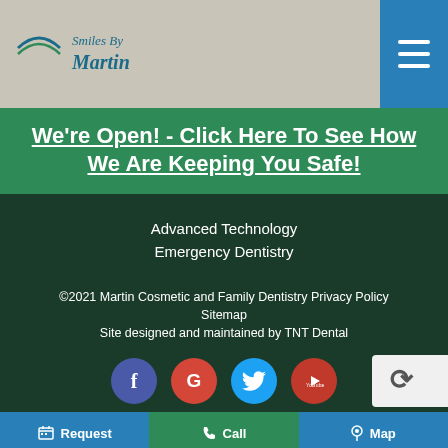[Figure (logo): Smiles By Martin dental practice logo with curved smile line above text]
We're Open! - Click Here To See How We Are Keeping You Safe!
Advanced Technology
Emergency Dentistry
©2021 Martin Cosmetic and Family Dentistry Privacy Policy
Sitemap
Site designed and maintained by TNT Dental
[Figure (other): Social media icons: Facebook (blue), Google (red), Twitter (cyan), YouTube (red)]
Request   Call   Map